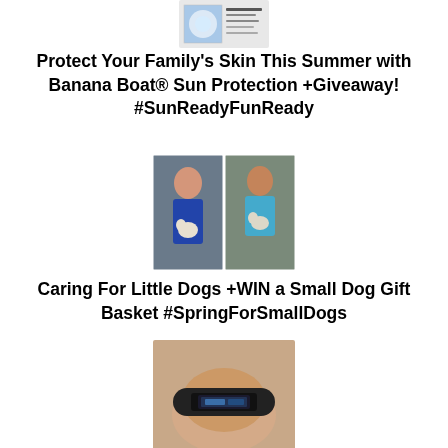[Figure (screenshot): Small thumbnail screenshot of a blog post header with a sunscreen product image]
Protect Your Family's Skin This Summer with Banana Boat® Sun Protection +Giveaway! #SunReadyFunReady
[Figure (photo): Two photos side by side: a boy and a woman each holding a small puppy]
Caring For Little Dogs +WIN a Small Dog Gift Basket #SpringForSmallDogs
[Figure (photo): A hand holding a fitness tracker wristband]
Mother's Day Surprise with Best Buy!
[Figure (photo): A laptop computer open on a desk]